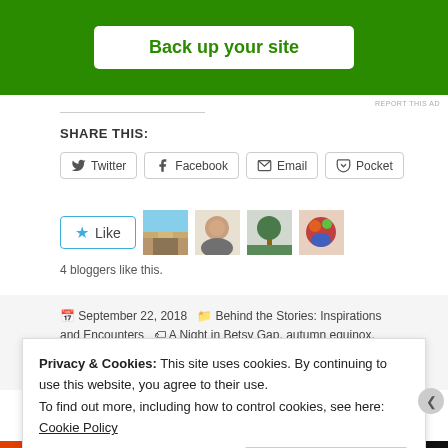[Figure (other): Green advertisement banner with white rounded button reading 'Back up your site']
REPORT THIS AD
SHARE THIS:
Twitter  Facebook  Email  Pocket
[Figure (other): Like button with star icon and 4 blogger avatars]
4 bloggers like this.
September 22, 2018  Behind the Stories: Inspirations and Encounters  A Night in Betsy Gap, autumn equinox, disappearing words, free short story, Ghost Sickness, goddess
Privacy & Cookies: This site uses cookies. By continuing to use this website, you agree to their use.
To find out more, including how to control cookies, see here: Cookie Policy
Close and accept